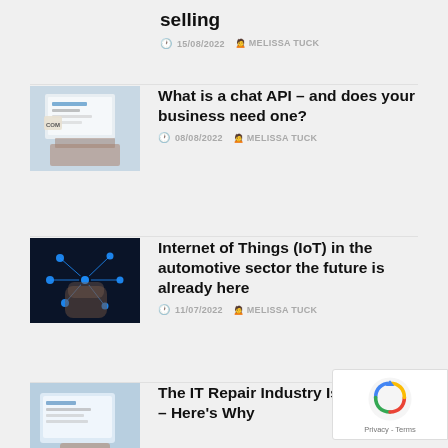selling
15/08/2022  MELISSA TUCK
What is a chat API – and does your business need one?
08/08/2022  MELISSA TUCK
[Figure (photo): Hands typing on laptop keyboard with chat interface visible]
Internet of Things (IoT) in the automotive sector the future is already here
11/07/2022  MELISSA TUCK
[Figure (photo): Hand touching glowing IoT circuit network diagram on dark background]
The IT Repair Industry Is Growing – Here's Why
[Figure (photo): Person working on computer repair]